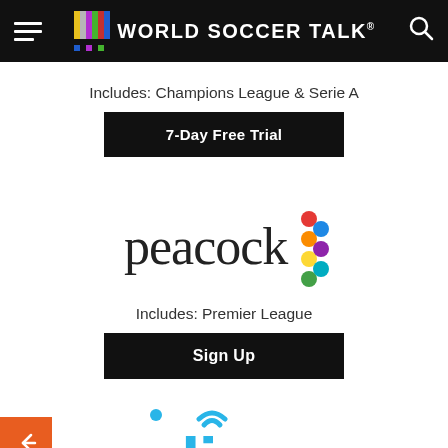World Soccer Talk
Includes: Champions League & Serie A
7-Day Free Trial
[Figure (logo): Peacock streaming service logo with colorful dots]
Includes: Premier League
Sign Up
[Figure (logo): Sling TV logo in blue (partially visible at bottom)]